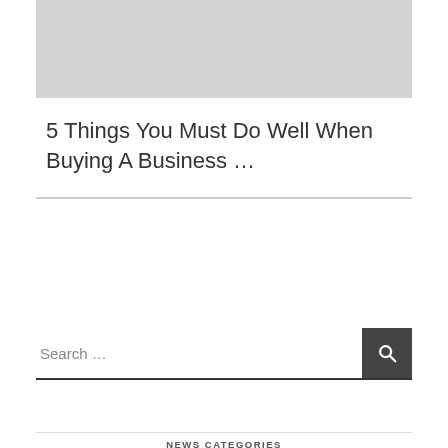[Figure (other): Gray placeholder image block at top of page]
5 Things You Must Do Well When Buying A Business …
[Figure (other): Search bar with search button]
NEWS CATEGORIES